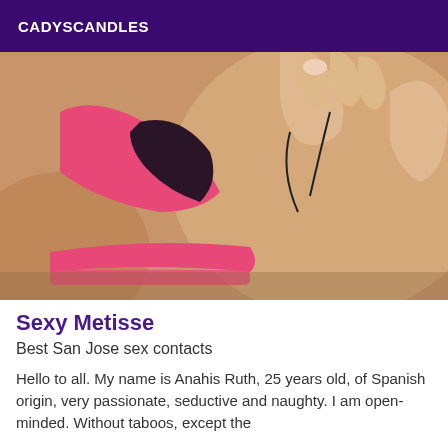CADYSCANDLES
[Figure (photo): Close-up photo of a person wearing a pink and dark sports bra, holding earbuds, with a silver ring on their finger.]
Sexy Metisse
Best San Jose sex contacts
Hello to all. My name is Anahis Ruth, 25 years old, of Spanish origin, very passionate, seductive and naughty. I am open-minded. Without taboos, except the